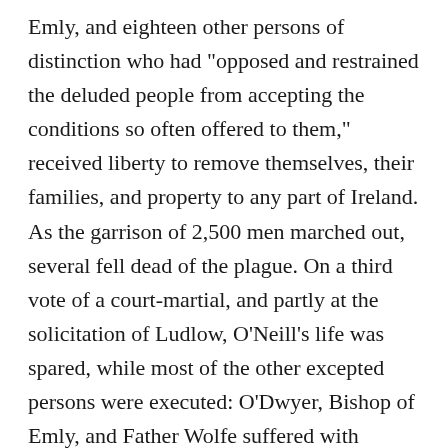Emly, and eighteen other persons of distinction who had "opposed and restrained the deluded people from accepting the conditions so often offered to them," received liberty to remove themselves, their families, and property to any part of Ireland. As the garrison of 2,500 men marched out, several fell dead of the plague. On a third vote of a court-martial, and partly at the solicitation of Ludlow, O'Neill's life was spared, while most of the other excepted persons were executed: O'Dwyer, Bishop of Emly, and Father Wolfe suffered with singular bravery and fortitude. Ireton died of the plague at Limerick on 15th November 1651, aged about 41. His death was deeply felt by